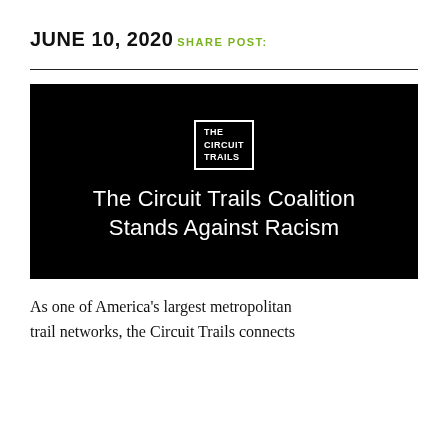JUNE 10, 2020
SHARE POST:
[Figure (illustration): Black background image with 'THE CIRCUIT TRAILS' logo in a white-bordered box at top center, and large white text reading 'The Circuit Trails Coalition Stands Against Racism']
As one of America's largest metropolitan trail networks, the Circuit Trails connects